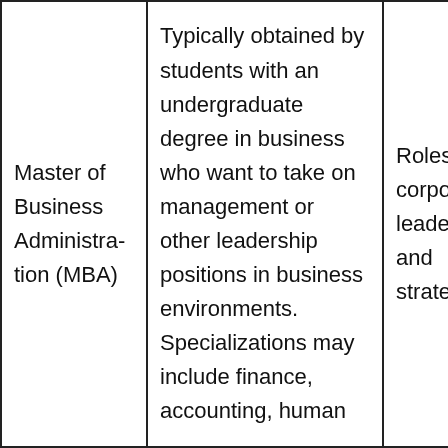| Master of Business Administration (MBA) | Typically obtained by students with an undergraduate degree in business who want to take on management or other leadership positions in business environments. Specializations may include finance, accounting, human | Roles in corporate leadership and strategy |